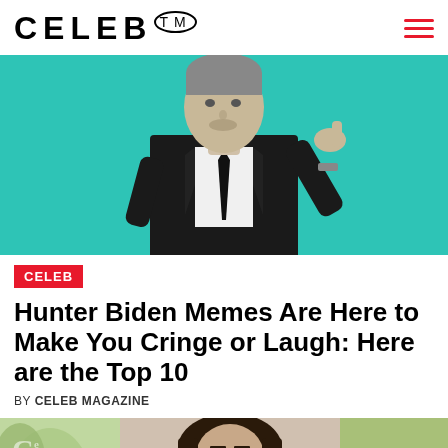CELEB™
[Figure (photo): Black and white photo of a man in a suit on a teal/turquoise background, pointing with one hand]
CELEB
Hunter Biden Memes Are Here to Make You Cringe or Laugh: Here are the Top 10
BY CELEB MAGAZINE
[Figure (photo): Photo of a dark-haired woman posing with decorative feather/palm leaf wings against a green background with plants, with a Celeb watermark in the top left corner]